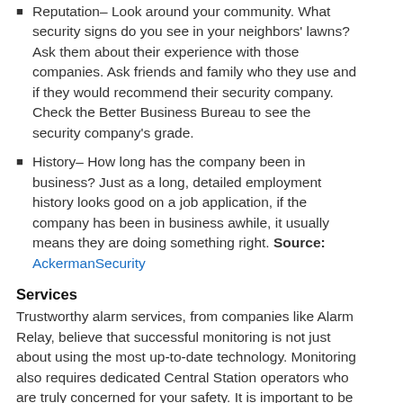Reputation– Look around your community. What security signs do you see in your neighbors' lawns? Ask them about their experience with those companies. Ask friends and family who they use and if they would recommend their security company. Check the Better Business Bureau to see the security company's grade.
History– How long has the company been in business? Just as a long, detailed employment history looks good on a job application, if the company has been in business awhile, it usually means they are doing something right. Source: AckermanSecurity
Services
Trustworthy alarm services, from companies like Alarm Relay, believe that successful monitoring is not just about using the most up-to-date technology. Monitoring also requires dedicated Central Station operators who are truly concerned for your safety. It is important to be sure that the alarm monitoring company you choose to use is accessible and responds promptly to your inquiries and requests. Source: AlarmRelay
For more information about our high quality alarm monitoring services, contact us here!